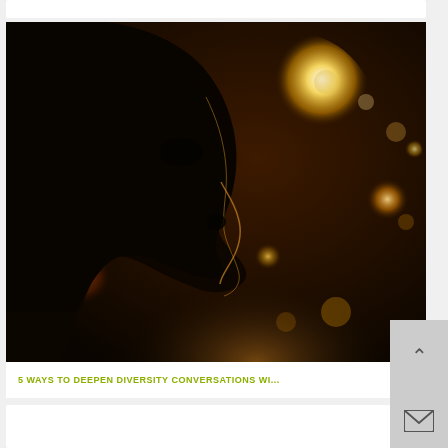[Figure (photo): Dark, moody photograph of a person's profile silhouette (facing right) with warm bokeh lights (golden and white glowing orbs) in the background. The subject's face is dark/shadowed against the bright warm bokeh. The overall color palette is deep brown, black, and warm golden-orange.]
5 WAYS TO DEEPEN DIVERSITY CONVERSATIONS WI...